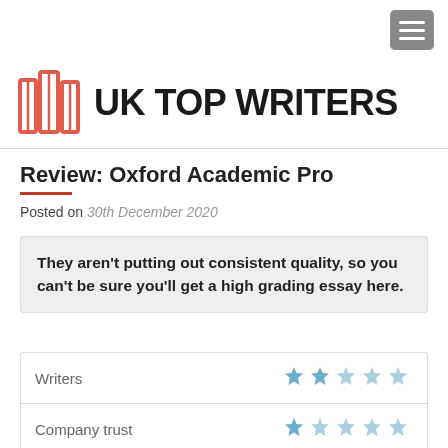UK TOP WRITERS
Review: Oxford Academic Pro
Posted on 30th December 2020
They aren't putting out consistent quality, so you can't be sure you'll get a high grading essay here.
| Category | Rating |
| --- | --- |
| Writers | ★★☆☆☆ |
| Company trust | ★☆☆☆☆ |